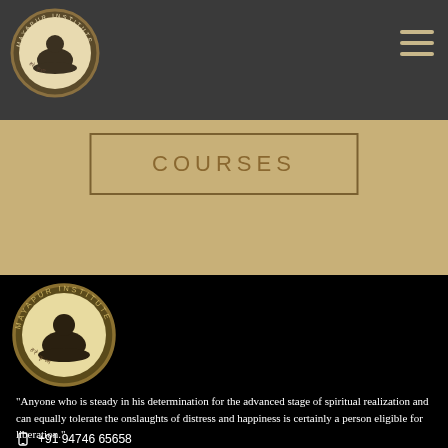[Figure (logo): Mayapur Institute circular logo with a figure reading a book, surrounded by text 'MAYAPUR INSTITUTE']
COURSES
[Figure (logo): Mayapur Institute circular logo (larger) in footer section on black background]
“Anyone who is steady in his determination for the advanced stage of spiritual realization and can equally tolerate the onslaughts of distress and happiness is certainly a person eligible for liberation.” — A.C. Bhaktivedanta Swami Prabhupada, The Bhagavad-gita
+91 94746 65658
info@mayapurinstitute.org